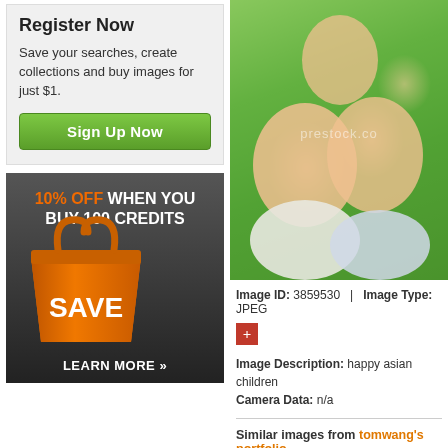Register Now
Save your searches, create collections and buy images for just $1.
Sign Up Now
[Figure (infographic): Dark gradient ad banner: '10% OFF WHEN YOU BUY 100 CREDITS' with orange shopping bag graphic and 'SAVE' text, 'LEARN MORE »' at bottom]
[Figure (photo): Stock photo of happy smiling Asian children outdoors with green background, watermarked]
Image ID: 3859530  |  Image Type: JPEG
Image Description: happy asian children
Camera Data: n/a
Similar images from tomwang's portfolio
[Figure (photo): Thumbnail of children against blue sky]